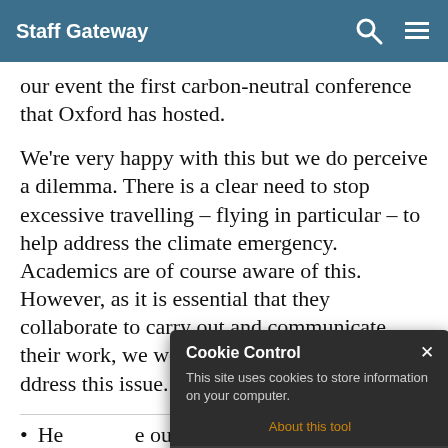Staff Gateway
our event the first carbon-neutral conference that Oxford has hosted.
We're very happy with this but we do perceive a dilemma. There is a clear need to stop excessive travelling – flying in particular – to help address the climate emergency. Academics are of course aware of this. However, as it is essential that they collaborate to carry out and communicate their work, we would urge the research community to invest... address this issue.
Help reduce our environmental impact – get involved with the Green Impact
[Figure (screenshot): Cookie Control popup dialog with dark background showing title 'Cookie Control', close X button, message 'This site uses cookies to store information on your computer.', 'About this tool' link in orange, and a 'read more' button.]